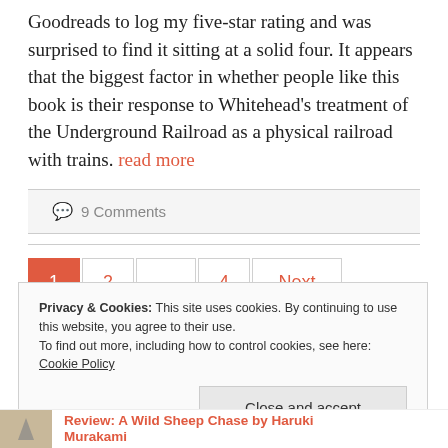Goodreads to log my five-star rating and was surprised to find it sitting at a solid four. It appears that the biggest factor in whether people like this book is their response to Whitehead's treatment of the Underground Railroad as a physical railroad with trains. read more
💬 9 Comments
1  2  ...  4  Next
Privacy & Cookies: This site uses cookies. By continuing to use this website, you agree to their use. To find out more, including how to control cookies, see here: Cookie Policy
Close and accept
Review: A Wild Sheep Chase by Haruki Murakami